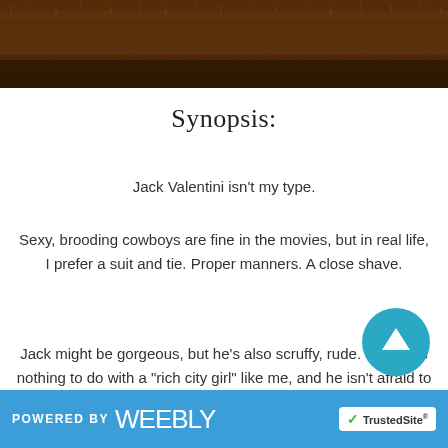[Figure (photo): Close-up photo of dark brown textured fur or grass at the top of the page]
Synopsis:
Jack Valentini isn't my type.
Sexy, brooding cowboys are fine in the movies, but in real life, I prefer a suit and tie. Proper manners. A close shave.
Jack might be gorgeous, but he's also scruffy, rude. He wants nothing to do with a "rich city girl" like me, and he isn't afraid to say so.
POWERED BY weebly   TrustedSite